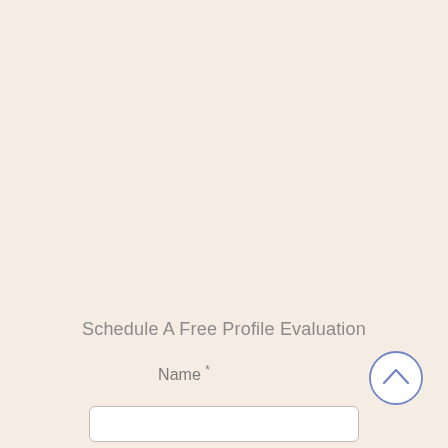Schedule A Free Profile Evaluation
Name *
[Figure (other): Circular scroll-up button with upward chevron arrow, outlined in blue-purple on white background]
[Figure (other): Empty text input field with rounded border]